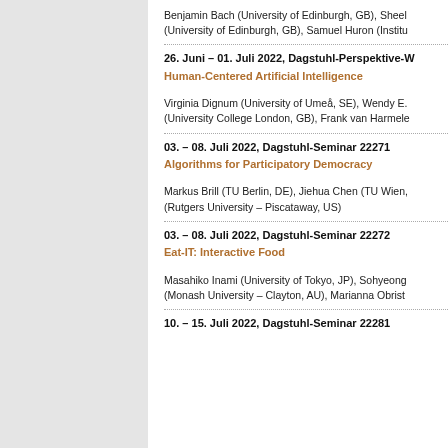Benjamin Bach (University of Edinburgh, GB), Sheel... (University of Edinburgh, GB), Samuel Huron (Institu...
26. Juni – 01. Juli 2022, Dagstuhl-Perspektive-W...
Human-Centered Artificial Intelligence
Virginia Dignum (University of Umeå, SE), Wendy E... (University College London, GB), Frank van Harmele...
03. – 08. Juli 2022, Dagstuhl-Seminar 22271
Algorithms for Participatory Democracy
Markus Brill (TU Berlin, DE), Jiehua Chen (TU Wien,... (Rutgers University – Piscataway, US)
03. – 08. Juli 2022, Dagstuhl-Seminar 22272
Eat-IT: Interactive Food
Masahiko Inami (University of Tokyo, JP), Sohyeong... (Monash University – Clayton, AU), Marianna Obrist...
10. – 15. Juli 2022, Dagstuhl-Seminar 22281